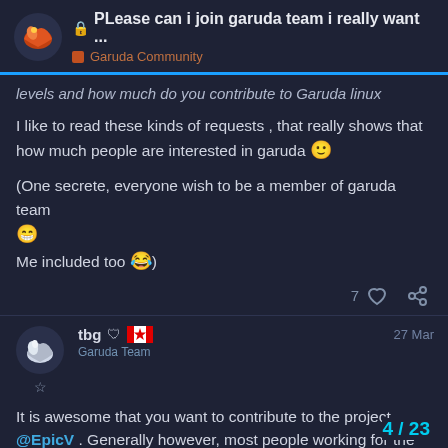PLease can i join garuda team i really want ... | Garuda Community
levels and how much do you contribute to Garuda linux
I like to read these kinds of requests , that really shows that how much people are interested in garuda 🙂
(One secrete, everyone wish to be a member of garuda team 😁
Me included too 😂)
7 ♡ 🔗
tbg 🛡 🇨🇦
Garuda Team
27 Mar
It is awesome that you want to contribute to the project @EpicV . Generally however, most people working for the project have some kind of track record of contributing to FOSS projects in the past.
4 / 23